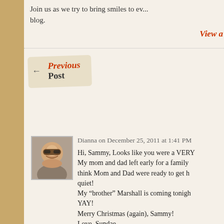Join us as we try to bring smiles to ev... blog.
View a
[Figure (other): Previous Post button with arrow, styled as torn paper/badge]
[Figure (photo): Avatar photo of Dianna, a woman with short hair and sunglasses, smiling]
Dianna on December 25, 2011 at 1:41 PM
Hi, Sammy, Looks like you were a VERY... My mom and dad left early for a family... think Mom and Dad were ready to get h... quiet!
My “brother” Marshall is coming tonigh...
YAY!
Merry Christmas (again), Sammy!
Love, Sundae